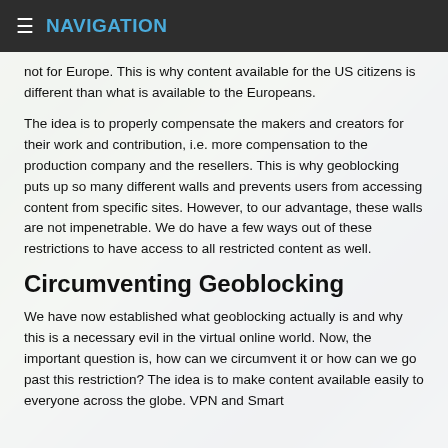≡ NAVIGATION
not for Europe. This is why content available for the US citizens is different than what is available to the Europeans.
The idea is to properly compensate the makers and creators for their work and contribution, i.e. more compensation to the production company and the resellers. This is why geoblocking puts up so many different walls and prevents users from accessing content from specific sites. However, to our advantage, these walls are not impenetrable. We do have a few ways out of these restrictions to have access to all restricted content as well.
Circumventing Geoblocking
We have now established what geoblocking actually is and why this is a necessary evil in the virtual online world. Now, the important question is, how can we circumvent it or how can we go past this restriction? The idea is to make content available easily to everyone across the globe. VPN and Smart